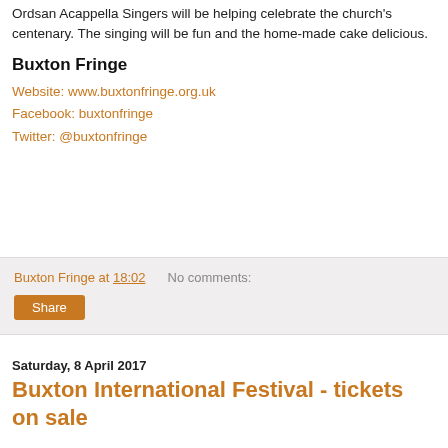Ordsan Acappella Singers will be helping celebrate the church's centenary. The singing will be fun and the home-made cake delicious.
Buxton Fringe
Website: www.buxtonfringe.org.uk
Facebook: buxtonfringe
Twitter: @buxtonfringe
Buxton Fringe at 18:02   No comments:
Share
Saturday, 8 April 2017
Buxton International Festival - tickets on sale